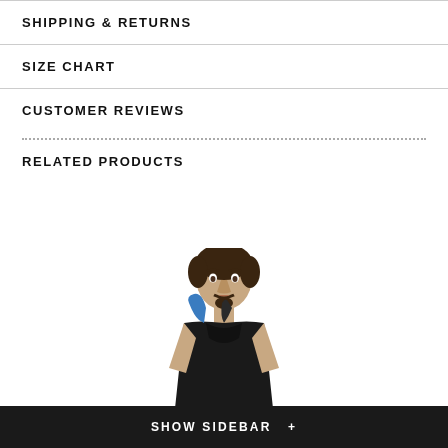SHIPPING & RETURNS
SIZE CHART
CUSTOMER REVIEWS
RELATED PRODUCTS
[Figure (photo): Man wearing athletic/sports clothing, upper body visible against white background]
SHOW SIDEBAR +